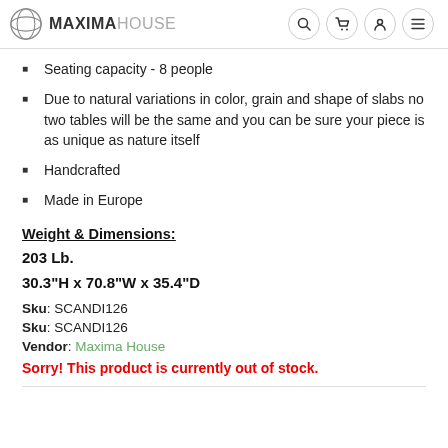MAXIMAHOUSE
Seating capacity - 8 people
Due to natural variations in color, grain and shape of slabs no two tables will be the same and you can be sure your piece is as unique as nature itself
Handcrafted
Made in Europe
Weight & Dimensions:
203 Lb.
30.3"H x 70.8"W x 35.4"D
Sku: SCANDI126
Sku: SCANDI126
Vendor: Maxima House
Sorry! This product is currently out of stock.